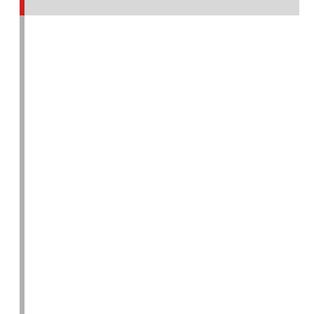[Figure (photo): Outdoor autumn scene with a person sitting under a tree with yellow/orange leaves, green grass in foreground, misty background. Only right portion visible in crop.]
When cancer that began somewhere else spreads to the bones, this is known as bone metastasis. According to the National Cancer Institute, a large percentage of people who develop certain types of cancer over the course of their lifetime,
45 percent of patients with breast
30-40 percent of patients with lun
50 percent of patients with prosta
A metastatic cancer can spread to the b they can break down barriers into the